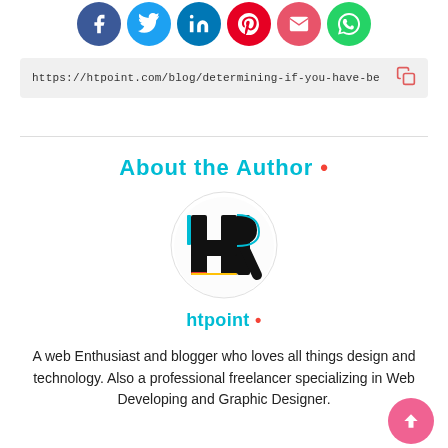[Figure (illustration): Row of social media icon circles: Facebook (blue), Twitter (light blue), LinkedIn (blue), Pinterest (red), Email (coral/red), WhatsApp (green)]
https://htpoint.com/blog/determining-if-you-have-be
About the Author •
[Figure (logo): htpoint logo — circular white background with bold 'HR' letters styled as a graphic mark in black with colorful outlines (cyan, yellow, red)]
htpoint •
A web Enthusiast and blogger who loves all things design and technology. Also a professional freelancer specializing in Web Developing and Graphic Designer.